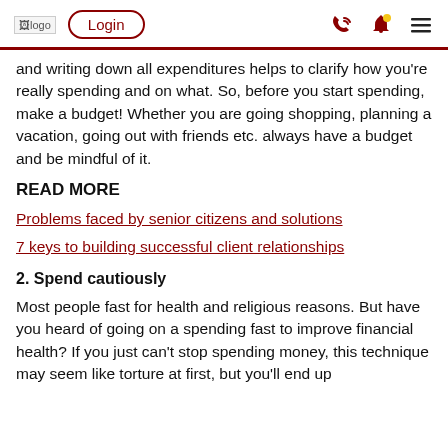logo | Login | [phone icon] [bell icon] [menu icon]
and writing down all expenditures helps to clarify how you're really spending and on what. So, before you start spending, make a budget! Whether you are going shopping, planning a vacation, going out with friends etc. always have a budget and be mindful of it.
READ MORE
Problems faced by senior citizens and solutions
7 keys to building successful client relationships
2. Spend cautiously
Most people fast for health and religious reasons. But have you heard of going on a spending fast to improve financial health? If you just can't stop spending money, this technique may seem like torture at first, but you'll end up